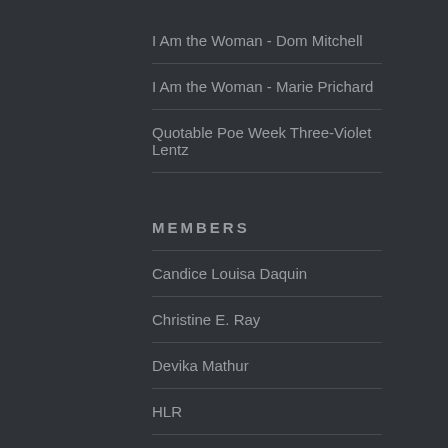I Am the Woman - Dom Mitchell
I Am the Woman - Marie Prichard
Quotable Poe Week Three-Violet Lentz
MEMBERS
Candice Louisa Daquin
Christine E. Ray
Devika Mathur
HLR